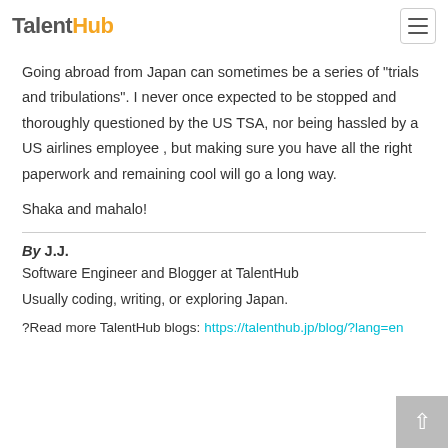TalentHub
Going abroad from Japan can sometimes be a series of "trials and tribulations". I never once expected to be stopped and thoroughly questioned by the US TSA, nor being hassled by a US airlines employee , but making sure you have all the right paperwork and remaining cool will go a long way.
Shaka and mahalo!
By J.J.
Software Engineer and Blogger at TalentHub
Usually coding, writing, or exploring Japan.
?Read more TalentHub blogs: https://talenthub.jp/blog/?lang=en